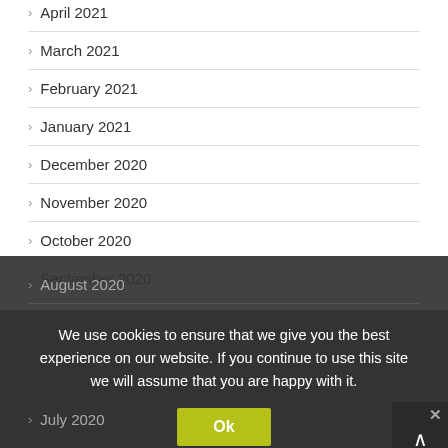April 2021
March 2021
February 2021
January 2021
December 2020
November 2020
October 2020
September 2020
August 2020
July 2020
June 2020
We use cookies to ensure that we give you the best experience on our website. If you continue to use this site we will assume that you are happy with it.
Ok